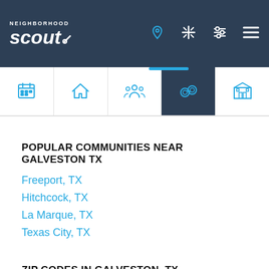[Figure (screenshot): NeighborhoodScout navigation header with logo and icons on dark navy background, with tab bar showing category icons below]
POPULAR COMMUNITIES NEAR GALVESTON TX
Freeport, TX
Hitchcock, TX
La Marque, TX
Texas City, TX
ZIP CODES IN GALVESTON, TX
77550
77551